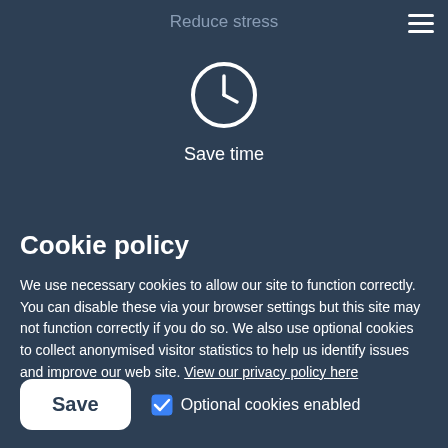Reduce stress
[Figure (illustration): Hamburger menu icon (three horizontal white lines) in the top right corner]
[Figure (illustration): Clock icon — white circle outline with clock hands showing approximately 9 o'clock]
Save time
Cookie policy
We use necessary cookies to allow our site to function correctly. You can disable these via your browser settings but this site may not function correctly if you do so. We also use optional cookies to collect anonymised visitor statistics to help us identify issues and improve our web site. View our privacy policy here
Save
Optional cookies enabled